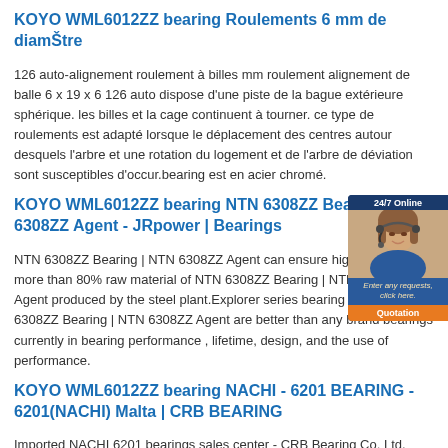KOYO WML6012ZZ bearing Roulements 6 mm de diamŠtre
126 auto-alignement roulement à billes mm roulement alignement de balle 6 x 19 x 6 126 auto dispose d'une piste de la bague extérieure sphérique. les billes et la cage continuent à tourner. ce type de roulements est adapté lorsque le déplacement des centres autour desquels l'arbre et une rotation du logement et de l'arbre de déviation sont susceptibles d'occur.bearing est en acier chromé.
KOYO WML6012ZZ bearing NTN 6308ZZ Bearing | NTN 6308ZZ Agent - JRpower | Bearings
NTN 6308ZZ Bearing | NTN 6308ZZ Agent can ensure high quality for more than 80% raw material of NTN 6308ZZ Bearing | NTN 6308ZZ Agent produced by the steel plant.Explorer series bearing of NTN 6308ZZ Bearing | NTN 6308ZZ Agent are better than any brand bearings currently in bearing performance , lifetime, design, and the use of performance.
KOYO WML6012ZZ bearing NACHI - 6201 BEARING - 6201(NACHI) Malta | CRB BEARING
Imported NACHI 6201 bearings sales center - CRB Bearing Co. Ltd. stock NACHI 6201 bearings, 6201 bearings to provide professional information of NACHI images, NACHI 6201, NACHI 6201 bearing design specifications, NACHI bearings 6201 bearings, 6201 bearing NACHI price for your weight!
[Figure (photo): Customer service popup widget showing a woman with headset, '24/7 Online' banner, 'Enter any requests, click here.' text, and orange 'Quotation' button]